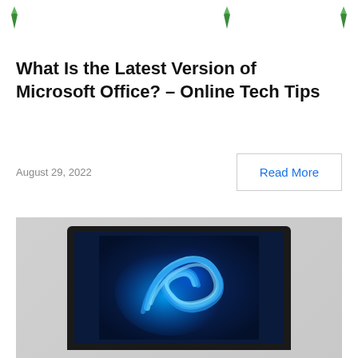Navigation icons row
What Is the Latest Version of Microsoft Office? – Online Tech Tips
August 29, 2022
Read More
[Figure (photo): Laptop computer showing Windows 11 desktop wallpaper with blue swirling abstract design on screen, photographed against light gray background]